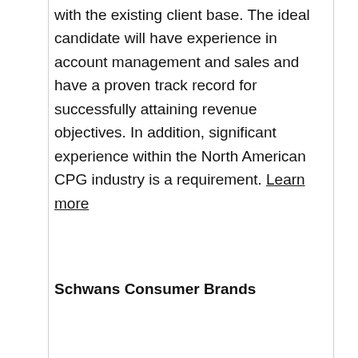with the existing client base. The ideal candidate will have experience in account management and sales and have a proven track record for successfully attaining revenue objectives. In addition, significant experience within the North American CPG industry is a requirement. Learn more
Schwans Consumer Brands